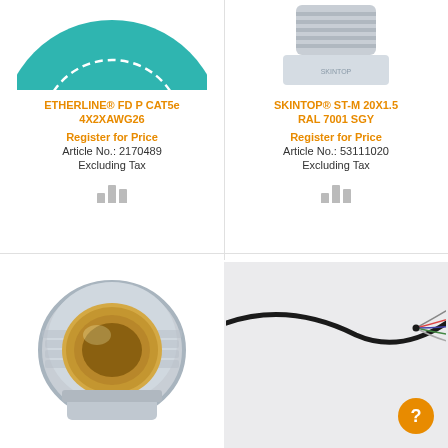[Figure (photo): Partial view of ETHERLINE FD P CAT5e cable, teal/green circular cross-section visible from top]
[Figure (photo): SKINTOP ST-M 20X1.5 RAL 7001 SGY grey cable gland connector, threaded fitting, top view]
ETHERLINE® FD P CAT5e 4X2XAWG26
Register for Price
Article No.: 2170489
Excluding Tax
SKINTOP® ST-M 20X1.5 RAL 7001 SGY
Register for Price
Article No.: 53111020
Excluding Tax
[Figure (photo): Cable gland with grey plastic outer thread and chrome/brass inner locking ring, side view]
[Figure (photo): Thin black cable with exposed multi-colored wires at one end, on light grey background]